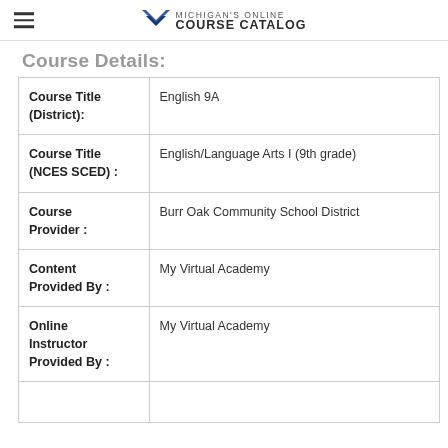Michigan's Online Course Catalog
Course Details:
| Field | Value |
| --- | --- |
| Course Title (District): | English 9A |
| Course Title (NCES SCED) : | English/Language Arts I (9th grade) |
| Course Provider : | Burr Oak Community School District |
| Content Provided By : | My Virtual Academy |
| Online Instructor Provided By : | My Virtual Academy |